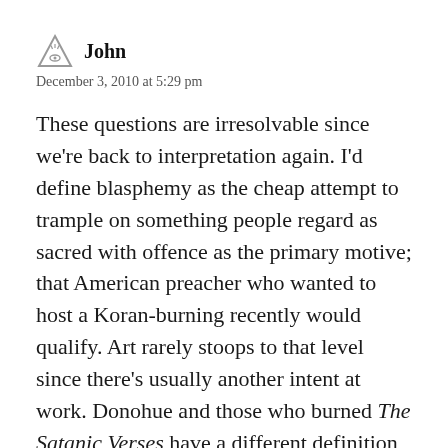John
December 3, 2010 at 5:29 pm
These questions are irresolvable since we're back to interpretation again. I'd define blasphemy as the cheap attempt to trample on something people regard as sacred with offence as the primary motive; that American preacher who wanted to host a Koran-burning recently would qualify. Art rarely stoops to that level since there's usually another intent at work. Donohue and those who burned The Satanic Verses have a different definition which they apply very broadly and they use that definition as a stick to beat those with whom